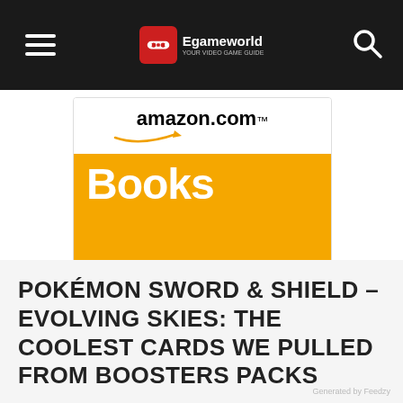Egameworld navigation bar with hamburger menu and search icon
[Figure (screenshot): Amazon.com Books advertisement banner with orange background, 'Click here' button, and Privacy Information text]
POKÉMON SWORD & SHIELD – EVOLVING SKIES: THE COOLEST CARDS WE PULLED FROM BOOSTERS PACKS